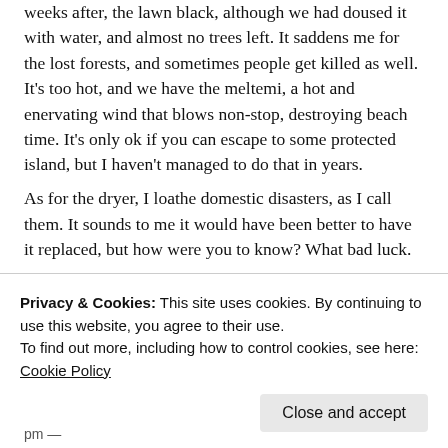weeks after, the lawn black, although we had doused it with water, and almost no trees left. It saddens me for the lost forests, and sometimes people get killed as well. It's too hot, and we have the meltemi, a hot and enervating wind that blows non-stop, destroying beach time. It's only ok if you can escape to some protected island, but I haven't managed to do that in years.
As for the dryer, I loathe domestic disasters, as I call them. It sounds to me it would have been better to have it replaced, but how were you to know? What bad luck.
First world problems, I know, but that doesn't make them any less annoying. Poor you 😙
★ Liked by 2 people
Privacy & Cookies: This site uses cookies. By continuing to use this website, you agree to their use.
To find out more, including how to control cookies, see here: Cookie Policy
Close and accept
pm —